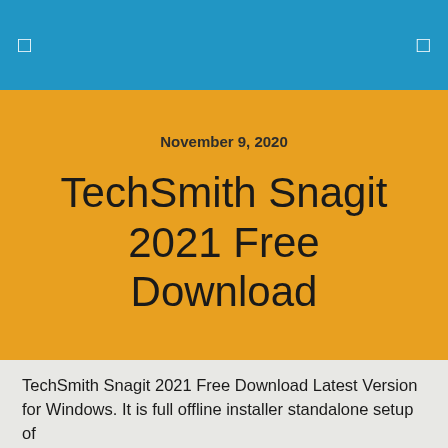November 9, 2020
TechSmith Snagit 2021 Free Download
TechSmith Snagit 2021 Free Download Latest Version for Windows. It is full offline installer standalone setup of